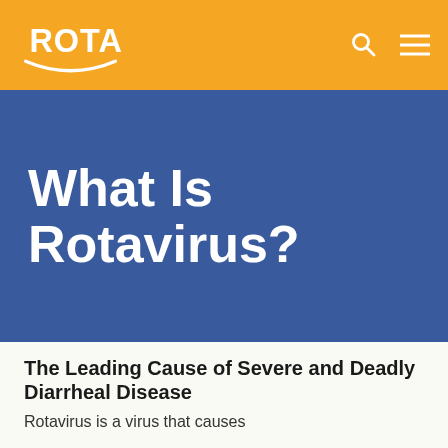ROTA
What Is Rotavirus?
The Leading Cause of Severe and Deadly Diarrheal Disease
Rotavirus is a virus that causes